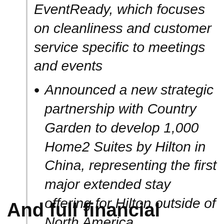EventReady, which focuses on cleanliness and customer service specific to meetings and events
Announced a new strategic partnership with Country Garden to develop 1,000 Home2 Suites by Hilton in China, representing the first major extended stay offering for Hilton outside of North America
And full financial